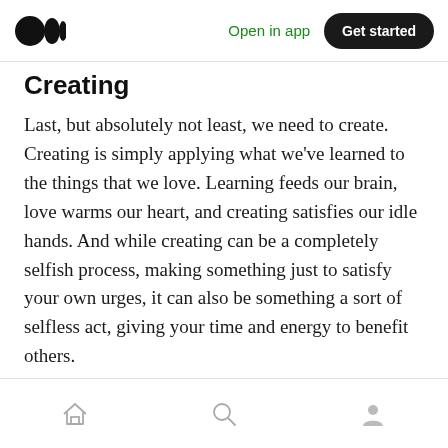Open in app  Get started
Creating
Last, but absolutely not least, we need to create. Creating is simply applying what we've learned to the things that we love. Learning feeds our brain, love warms our heart, and creating satisfies our idle hands. And while creating can be a completely selfish process, making something just to satisfy your own urges, it can also be something a sort of selfless act, giving your time and energy to benefit others.